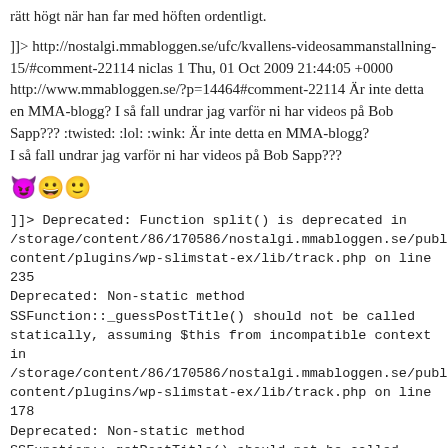rätt högt när han far med höften ordentligt.
]]> http://nostalgi.mmabloggen.se/ufc/kvallens-videosammanstallning-15/#comment-22114 niclas 1 Thu, 01 Oct 2009 21:44:05 +0000 http://www.mmabloggen.se/?p=14464#comment-22114 Är inte detta en MMA-blogg? I så fall undrar jag varför ni har videos på Bob Sapp??? :twisted: :lol: :wink: Är inte detta en MMA-blogg?
I så fall undrar jag varför ni har videos på Bob Sapp???
[Figure (illustration): Three emoji faces: devil/angry face, grinning face, and smiley face]
]]> Deprecated: Function split() is deprecated in /storage/content/86/170586/nostalgi.mmabloggen.se/public_html/wp content/plugins/wp-slimstat-ex/lib/track.php on line 235 Deprecated: Non-static method SSFunction::_guessPostTitle() should not be called statically, assuming $this from incompatible context in /storage/content/86/170586/nostalgi.mmabloggen.se/public_html/wp content/plugins/wp-slimstat-ex/lib/track.php on line 178 Deprecated: Non-static method SSFunction::_getPostTitle() should not be called statically, assuming $this from incompatible context in /storage/content/86/170586/nostalgi.mmabloggen.se/public_html/wp content/plugins/wp-slimstat-ex/lib/functions.php on line 990